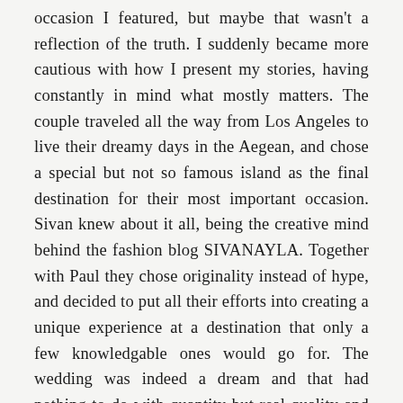occasion I featured, but maybe that wasn't a reflection of the truth. I suddenly became more cautious with how I present my stories, having constantly in mind what mostly matters. The couple traveled all the way from Los Angeles to live their dreamy days in the Aegean, and chose a special but not so famous island as the final destination for their most important occasion. Sivan knew about it all, being the creative mind behind the fashion blog SIVANAYLA. Together with Paul they chose originality instead of hype, and decided to put all their efforts into creating a unique experience at a destination that only a few knowledgable ones would go for. The wedding was indeed a dream and that had nothing to do with quantity but real quality and true values. Simply enough it was all about sharing their beautifully simple-chic wedding with unique friends and an ultra loving family. It all concluded perfectly when in the end Sivan entrusted me that she couldn't have picked a better island...